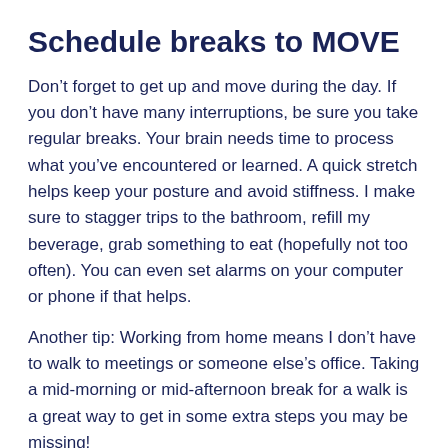Schedule breaks to MOVE
Don’t forget to get up and move during the day. If you don’t have many interruptions, be sure you take regular breaks. Your brain needs time to process what you’ve encountered or learned. A quick stretch helps keep your posture and avoid stiffness. I make sure to stagger trips to the bathroom, refill my beverage, grab something to eat (hopefully not too often). You can even set alarms on your computer or phone if that helps.
Another tip: Working from home means I don’t have to walk to meetings or someone else’s office. Taking a mid-morning or mid-afternoon break for a walk is a great way to get in some extra steps you may be missing!
Enjoy the outdoors